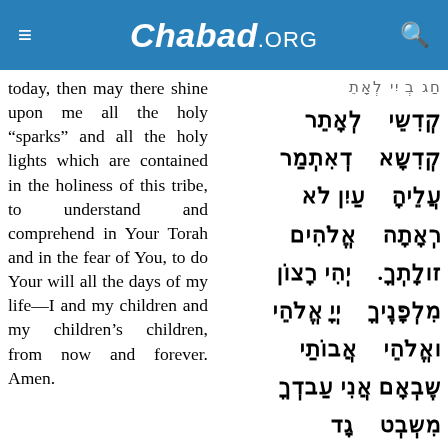Chabad.ORG
today, then may there shine upon me all the holy “sparks” and all the holy lights which are contained in the holiness of this tribe, to understand and comprehend in Your Torah and in the fear of You, to do Your will all the days of my life—I and my children and my children’s children, from now and forever. Amen.
קְדִישֵי לְאָתֵר קְדִישָא דְאִתְמַר עֲלֵיהָ עַיִן לֹא רְאָתָה אֱלֹהִים זולָתְךָ. יְהִי רָצוֹן מִלְפָנֶיךָ יְיָ אֱלֹהֵי ואֱלֹהֵי אֲבוֹתַי שֶבְאָם אֲנִי עַבדְךָ מִשְבְט גָד